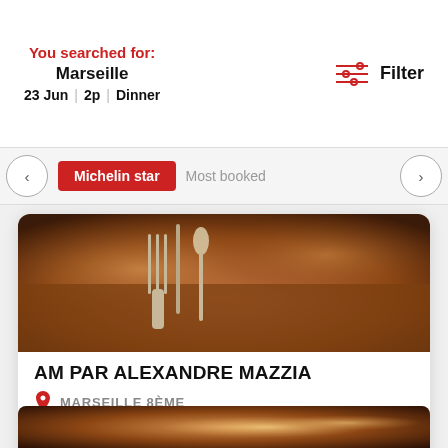You searched for: Marseille 23 Jun | 2p | Dinner
Filter
Michelin star | Most booked
[Figure (photo): Close-up photo of fork and spoon on a wooden table with warm blurred bokeh background]
AM PAR ALEXANDRE MAZZIA
MARSEILLE 8ÈME
French
1 Star
[Figure (photo): Blurred warm bokeh background of a restaurant interior]